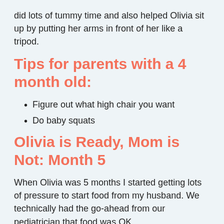did lots of tummy time and also helped Olivia sit up by putting her arms in front of her like a tripod.
Tips for parents with a 4 month old:
Figure out what high chair you want
Do baby squats
Olivia is Ready, Mom is Not: Month 5
When Olivia was 5 months I started getting lots of pressure to start food from my husband. We technically had the go-ahead from our pediatrician that food was OK.